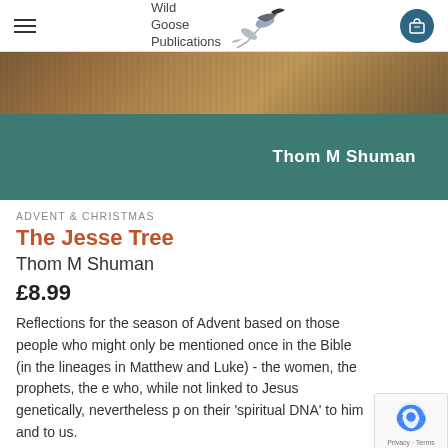Wild Goose Publications
[Figure (photo): Book cover image for The Jesse Tree by Thom M Shuman. Top portion shows a textured earth/stone photograph background, bottom portion is a teal/dark green band with the author name 'Thom M Shuman' in white text on the right side.]
ADVENT & CHRISTMAS
The Jesse Tree
Thom M Shuman
£8.99
Reflections for the season of Advent based on those people who might only be mentioned once in the Bible (in the lineages in Matthew and Luke) - the women, the prophets, the e who, while not linked to Jesus genetically, nevertheless p on their 'spiritual DNA' to him and to us.